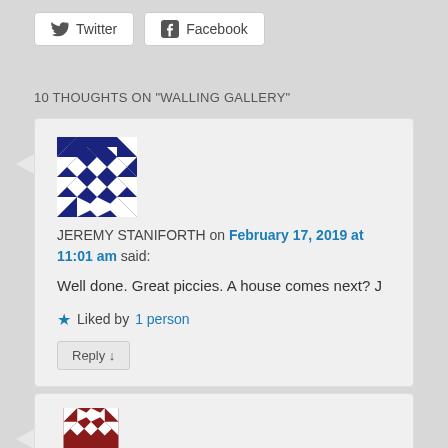[Figure (other): Twitter and Facebook share buttons]
10 THOUGHTS ON "WALLING GALLERY"
[Figure (other): Blue geometric avatar for Jeremy Staniforth]
JEREMY STANIFORTH on February 17, 2019 at 11:01 am said:
Well done. Great piccies. A house comes next? J
★ Liked by 1 person
Reply ↓
[Figure (other): Red/dark geometric avatar for second commenter (partially visible)]